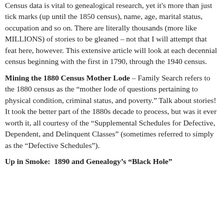Census data is vital to genealogical research, yet it's more than just tick marks (up until the 1850 census), name, age, marital status, occupation and so on. There are literally thousands (more like MILLIONS) of stories to be gleaned – not that I will attempt that feat here, however. This extensive article will look at each decennial census beginning with the first in 1790, through the 1940 census.
Mining the 1880 Census Mother Lode – Family Search refers to the 1880 census as the “mother lode of questions pertaining to physical condition, criminal status, and poverty.” Talk about stories! It took the better part of the 1880s decade to process, but was it ever worth it, all courtesy of the “Supplemental Schedules for Defective, Dependent, and Delinquent Classes” (sometimes referred to simply as the “Defective Schedules”).
Up in Smoke: 1890 and Genealogy’s “Black Hole”